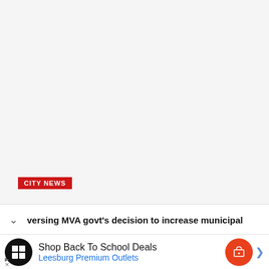[Figure (photo): Large image area with light gray background, a red 'CITY NEWS' badge overlaid at the bottom left]
versing MVA govt's decision to increase municipal
[Figure (other): Advertisement banner: Shop Back To School Deals - Leesburg Premium Outlets, with black circular logo and orange chat button]